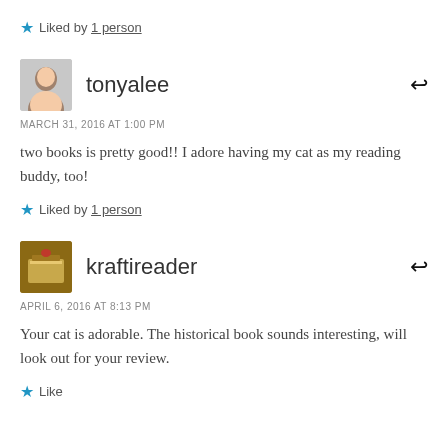★ Liked by 1 person
tonyalee
MARCH 31, 2016 AT 1:00 PM
two books is pretty good!! I adore having my cat as my reading buddy, too!
★ Liked by 1 person
kraftireader
APRIL 6, 2016 AT 8:13 PM
Your cat is adorable. The historical book sounds interesting, will look out for your review.
★ Like